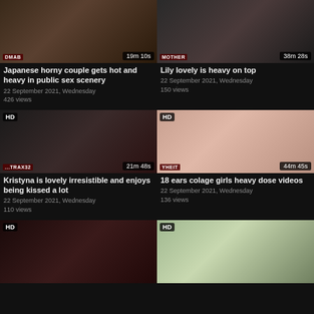[Figure (photo): Video thumbnail 1 with duration badge 19m 10s and site logo DMAB]
[Figure (photo): Video thumbnail 2 with duration badge 38m 28s and site logo MOTHER]
Japanese horny couple gets hot and heavy in public sex scenery
22 September 2021, Wednesday
426 views
Lily lovely is heavy on top
22 September 2021, Wednesday
150 views
[Figure (photo): HD video thumbnail with duration 21m 48s and site logo TRAX32]
[Figure (photo): HD video thumbnail with duration 44m 45s and site logo YHEIT]
Kristyna is lovely irresistible and enjoys being kissed a lot
22 September 2021, Wednesday
110 views
18 ears colage girls heavy dose videos
22 September 2021, Wednesday
136 views
[Figure (photo): HD video thumbnail showing partial view]
[Figure (photo): HD video thumbnail showing person indoors]